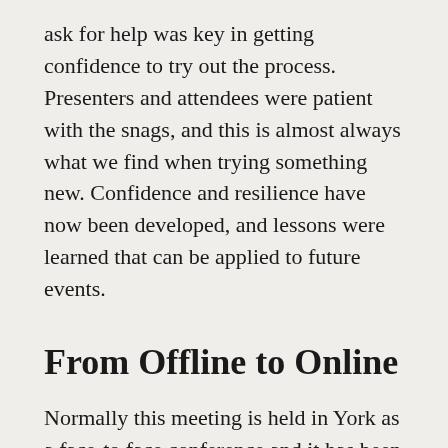ask for help was key in getting confidence to try out the process. Presenters and attendees were patient with the snags, and this is almost always what we find when trying something new. Confidence and resilience have now been developed, and lessons were learned that can be applied to future events.
From Offline to Online
Normally this meeting is held in York as a face-to face conference and it has been running annually since 1994. Attendees can gain CPD points from the Royal College of Physicians (RCP) for attending. As with the offline event, a